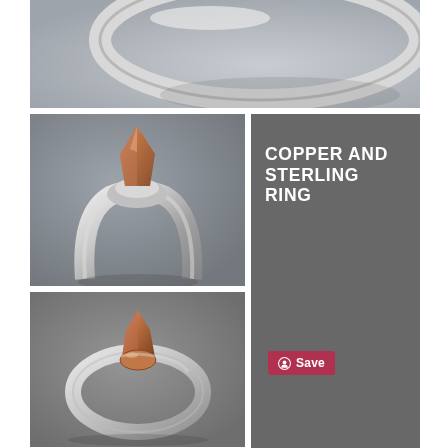[Figure (photo): Close-up photo of a silver ring on a light gray background, showing the band from above]
[Figure (photo): Photo of a silver and copper ring with a bullet-shaped copper point protruding from the top of the silver band, on a gray background]
COPPER AND STERLING RING
[Figure (photo): Photo of the same copper and sterling silver ring from a different angle, showing the copper bullet tip pointing upward and the round silver band from the side]
Save